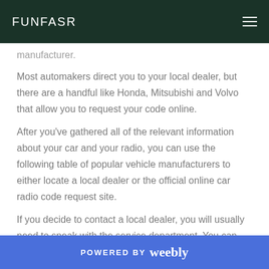FUNFASR
manufacturer.
Most automakers direct you to your local dealer, but there are a handful like Honda, Mitsubishi and Volvo that allow you to request your code online.
After you've gathered all of the relevant information about your car and your radio, you can use the following table of popular vehicle manufacturers to either locate a local dealer or the official online car radio code request site.
If you decide to contact a local dealer, you will usually need to speak with the service department. You can then ask the service writer whether or not they can look up your car radio code.
POWERED BY weebly